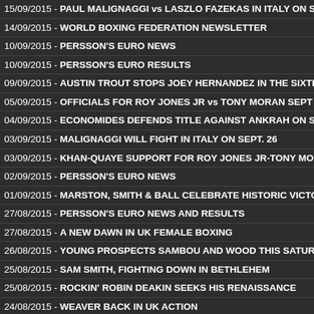15/09/2015 - PAUL MALIGNAGGI vs LASZLO FAZEKAS IN ITALY ON S…
14/09/2015 - WORLD BOXING FEDERATION NEWSLETTER
10/09/2015 - PERSSON'S EURO NEWS
10/09/2015 - PERSSON'S EURO RESULTS
09/09/2015 - AUSTIN TROUT STOPS JOEY HERNANDEZ IN THE SIXTH
05/09/2015 - OFFICIALS FOR ROY JONES JR vs TONY MORAN SEPT 1…
04/09/2015 - ECONOMIDES DEFENDS TITLE AGAINST ANKRAH ON S…
03/09/2015 - MALIGNAGGI WILL FIGHT IN ITALY ON SEPT. 26
03/09/2015 - KHAN-QUAYE SUPPORT FOR ROY JONES JR-TONY MOR…
02/09/2015 - PERSSON'S EURO NEWS
01/09/2015 - MARSTON, SMITH & BALL CELEBRATE HISTORIC VICTO…
27/08/2015 - PERSSON'S EURO NEWS AND RESULTS
27/08/2015 - A NEW DAWN IN UK FEMALE BOXING
26/08/2015 - YOUNG PROSPECTS SAMBOU AND WOOD THIS SATURD…
25/08/2015 - SAM SMITH, FIGHTING DOWN IN BETHLEHEM
25/08/2015 - ROCKIN' ROBIN DEAKIN SEEKS HIS RENAISSANCE
24/08/2015 - WEAVER BACK IN UK ACTION
23/08/2015 - SHAUNAGH BROWN SET FOR PRO BOXING DEBUT
19/08/2015 - PERSSON'S EURO NEWS AND RESULTS
19/08/2015 - LET'S HEAR IT FROM THE GIRLS
19/08/2015 - WORLD BOXING FEDERATION NEWSLETTER
18/08/2015 - DOCHERTY STOPS KELLY TO SECURE WBU CROWN
18/08/2015 - PERSSON'S EURO NEWS
15/08/2015 - PRESS CONFERENCE FOR HISTORIC LONDON EVENT
13/08/2015 - PERSSON'S EURO NEWS AND RESULTS
13/08/2015 - SPADAFORA RETURNS AS A TRAINER
12/08/2015 - LUCIAN BUTE TO END LONG LAYOFF AGAINST ANDER…